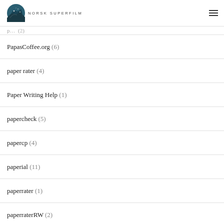NORSK SUPERFILM
PapasCoffee.org (6)
paper rater (4)
Paper Writing Help (1)
papercheck (5)
papercp (4)
paperial (11)
paperrater (1)
paperraterRW (2)
papersowl (4)